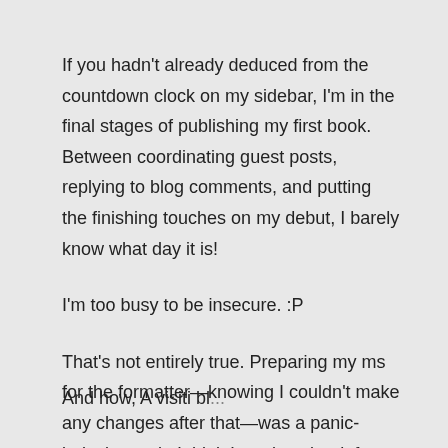If you hadn't already deduced from the countdown clock on my sidebar, I'm in the final stages of publishing my first book. Between coordinating guest posts, replying to blog comments, and putting the finishing touches on my debut, I barely know what day it is!
I'm too busy to be insecure. :P
That's not entirely true. Preparing my ms for the formatter—knowing I couldn't make any changes after that—was a panic-inducing task. I think I read my book four times in less than two weeks, combing it for awkward phrasing and errors.
And how, A visiti bl...